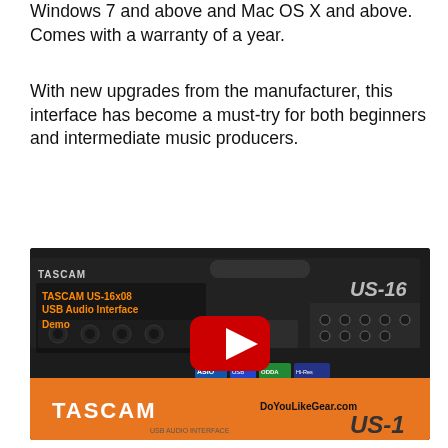Windows 7 and above and Mac OS X and above. Comes with a warranty of a year.
With new upgrades from the manufacturer, this interface has become a must-try for both beginners and intermediate music producers.
[Figure (screenshot): YouTube video thumbnail showing TASCAM US-16x08 USB Audio Interface Demo. The image shows the hardware unit on a box with orange TASCAM branding. Text overlay reads 'TASCAM US-16x08 USB Audio Interface Demo'. A YouTube play button is centered. Bottom orange bar shows TASCAM logo and DoYouLikeGear.com watermark.]